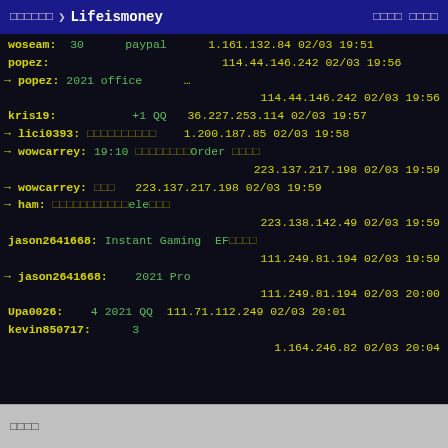󰀀󰀀󰀀󰀀󰀀󰀀 > Lifeismoney 󰀀󰀀󰀀󰀀 󰀀󰀀󰀀󰀀
woseam: 30 paypal 1.161.132.84 02/03 19:51
popez: 114.44.146.242 02/03 19:56
→ popez: 2021 office …
114.44.146.242 02/03 19:56
kris19: +1 QQ 36.227.253.114 02/03 19:57
→ lici0393: 󰀀󰀀󰀀󰀀󰀀󰀀󰀀󰀀󰀀󰀀 1.200.187.85 02/03 19:58
→ wowcarrey: 19:10 󰀀󰀀󰀀󰀀󰀀󰀀󰀀󰀀Order 󰀀󰀀󰀀󰀀
223.137.217.198 02/03 19:59
→ wowcarrey: 󰀀󰀀󰀀 223.137.217.198 02/03 19:59
→ ham: 󰀀󰀀󰀀󰀀󰀀󰀀󰀀󰀀󰀀󰀀󰀀ele󰀀󰀀󰀀
223.138.142.49 02/03 19:59
jason2641668: Instant Gaming EF󰀀󰀀󰀀󰀀
111.249.81.194 02/03 19:59
→ jason2641668: 2021 Pro
111.249.81.194 02/03 20:00
Upa0026: 4 2021 QQ 111.71.112.249 02/03 20:01
kevin850717: 3
1.164.246.82 02/03 20:04
󰀀󰀀󰀀󰀀